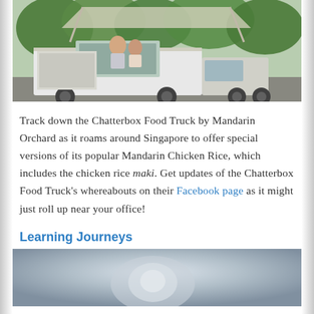[Figure (photo): A white food truck (Chatterbox Food Truck by Mandarin Orchard) parked outdoors with green trees in the background. People visible at the serving window of the truck.]
Track down the Chatterbox Food Truck by Mandarin Orchard as it roams around Singapore to offer special versions of its popular Mandarin Chicken Rice, which includes the chicken rice maki. Get updates of the Chatterbox Food Truck's whereabouts on their Facebook page as it might just roll up near your office!
Learning Journeys
[Figure (photo): Close-up photo, appears to show a blurred object against a light blue background.]